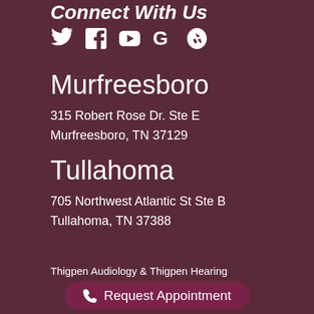Connect With Us
[Figure (infographic): Social media icons: Twitter, Facebook, YouTube, Google, Yelp]
Murfreesboro
315 Robert Rose Dr. Ste E
Murfreesboro, TN 37129
Tullahoma
705 Northwest Atlantic St Ste B
Tullahoma, TN 37388
Thigpen Audiology & Thigpen Hearing
Request Appointment